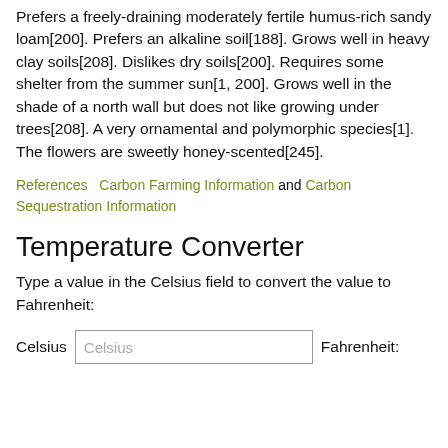Prefers a freely-draining moderately fertile humus-rich sandy loam[200]. Prefers an alkaline soil[188]. Grows well in heavy clay soils[208]. Dislikes dry soils[200]. Requires some shelter from the summer sun[1, 200]. Grows well in the shade of a north wall but does not like growing under trees[208]. A very ornamental and polymorphic species[1]. The flowers are sweetly honey-scented[245].
References   Carbon Farming Information and Carbon Sequestration Information
Temperature Converter
Type a value in the Celsius field to convert the value to Fahrenheit:
Celsius [input field] Fahrenheit: